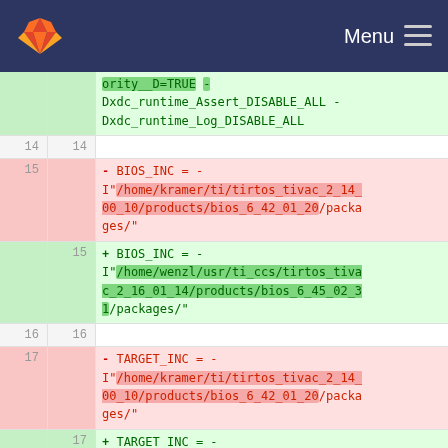Menu
[Figure (screenshot): GitLab diff view showing code changes. Removed lines (red background) and added lines (green background) for BIOS_INC and TARGET_INC variable definitions with different path values.]
ority__D=TRUE - Dxdc_runtime_Assert_DISABLE_ALL - Dxdc_runtime_Log_DISABLE_ALL
14  14
- BIOS_INC = - I"/home/kramer/ti/tirtos_tivac_2_14_00_10/products/bios_6_42_01_20/packages/"
+ BIOS_INC = - I"/home/wenzl/usr/ti_ccs/tirtos_tivac_2_16_01_14/products/bios_6_45_02_31/packages/"
16  16
- TARGET_INC = - I"/home/kramer/ti/tirtos_tivac_2_14_00_10/products/bios_6_42_01_20/packages/"
+ TARGET_INC = - I"/home/wenzl/usr/ti_ccs/tirtos_tivac_2_16_01_14/products/bios_6_45_02_3..."